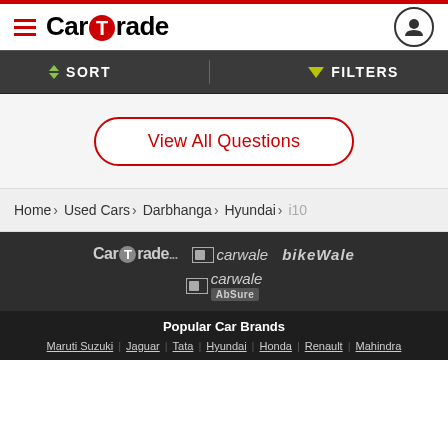CarTrade
SORT   FILTERS
View All Questions
Home › Used Cars › Darbhanga › Hyundai › i10
[Figure (logo): CarTrade, carwale, BikeWale, and carwale AbSure logos on dark background]
Popular Car Brands
Maruti Suzuki | Jaguar | Tata | Hyundai | Honda | Renault | Mahindra